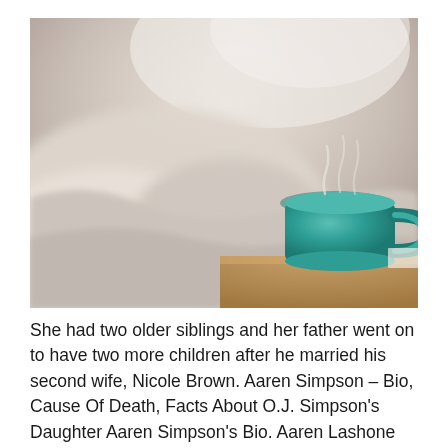[Figure (photo): A green ceramic coffee mug with steam rising from it, sitting on a wooden nightstand or table. Behind it are blurred white/cream bedsheets and pillows in a softly lit bedroom setting.]
She had two older siblings and her father went on to have two more children after he married his second wife, Nicole Brown. Aaren Simpson – Bio, Cause Of Death, Facts About O.J. Simpson's Daughter Aaren Simpson's Bio. Aaren Lashone Simpson was born